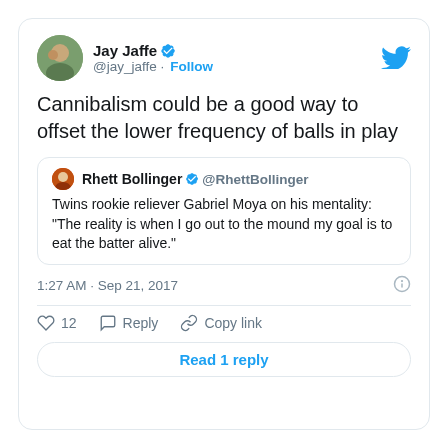Jay Jaffe @jay_jaffe · Follow
Cannibalism could be a good way to offset the lower frequency of balls in play
Rhett Bollinger @RhettBollinger Twins rookie reliever Gabriel Moya on his mentality: "The reality is when I go out to the mound my goal is to eat the batter alive."
1:27 AM · Sep 21, 2017
12  Reply  Copy link
Read 1 reply